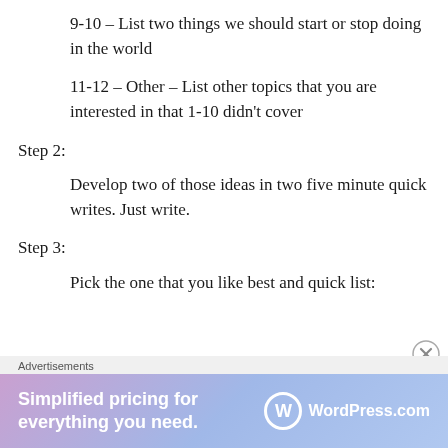9-10 – List two things we should start or stop doing in the world
11-12 – Other – List other topics that you are interested in that 1-10 didn't cover
Step 2:
Develop two of those ideas in two five minute quick writes. Just write.
Step 3:
Pick the one that you like best and quick list:
[Figure (screenshot): Advertisement banner: 'Simplified pricing for everything you need. WordPress.com']